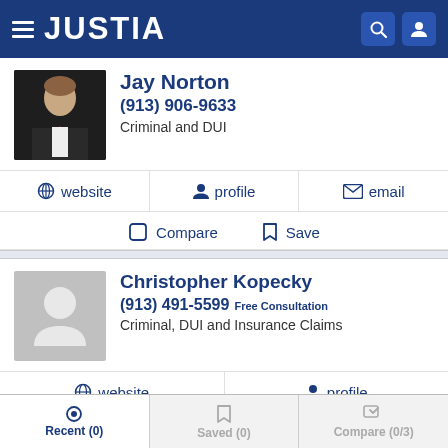JUSTIA
Jay Norton
(913) 906-9633
Criminal and DUI
website | profile | email
Compare | Save
Christopher Kopecky
(913) 491-5599 Free Consultation
Criminal, DUI and Insurance Claims
website | profile
Recent (0) | Saved (0) | Compare (0/3)